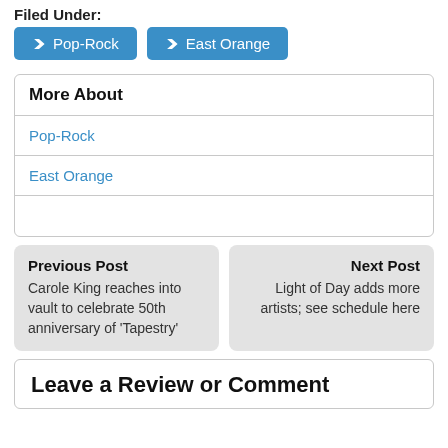Filed Under:
Pop-Rock
East Orange
More About
Pop-Rock
East Orange
Previous Post
Carole King reaches into vault to celebrate 50th anniversary of 'Tapestry'
Next Post
Light of Day adds more artists; see schedule here
Leave a Review or Comment